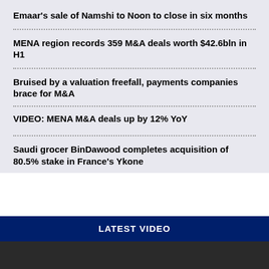Emaar's sale of Namshi to Noon to close in six months
MENA region records 359 M&A deals worth $42.6bln in H1
Bruised by a valuation freefall, payments companies brace for M&A
VIDEO: MENA M&A deals up by 12% YoY
Saudi grocer BinDawood completes acquisition of 80.5% stake in France's Ykone
LATEST VIDEO